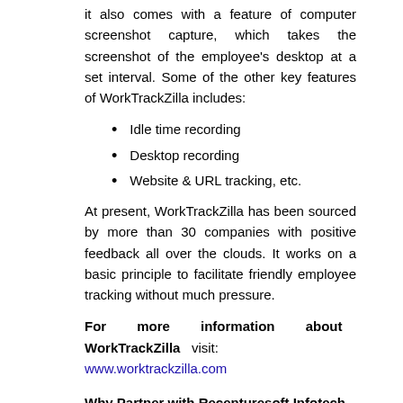it also comes with a feature of computer screenshot capture, which takes the screenshot of the employee's desktop at a set interval. Some of the other key features of WorkTrackZilla includes:
Idle time recording
Desktop recording
Website & URL tracking, etc.
At present, WorkTrackZilla has been sourced by more than 30 companies with positive feedback all over the clouds. It works on a basic principle to facilitate friendly employee tracking without much pressure.
For more information about WorkTrackZilla visit: www.worktrackzilla.com
Why Partner with Recenturesoft Infotech Pvt. Ltd.?
Recenturesoft Infotech Pvt. Ltd. tailors its processes depending on the client's scale and needs. They begin by mapping a strategy, developing a prototype, creating the beta version and finally launching the product. With a team of expert web developers and designers, you can expect mind-blowing custom